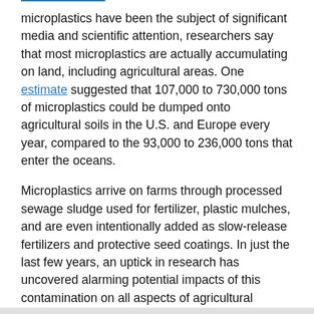microplastics have been the subject of significant media and scientific attention, researchers say that most microplastics are actually accumulating on land, including agricultural areas. One estimate suggested that 107,000 to 730,000 tons of microplastics could be dumped onto agricultural soils in the U.S. and Europe every year, compared to the 93,000 to 236,000 tons that enter the oceans.
Microplastics arrive on farms through processed sewage sludge used for fertilizer, plastic mulches, and are even intentionally added as slow-release fertilizers and protective seed coatings. In just the last few years, an uptick in research has uncovered alarming potential impacts of this contamination on all aspects of agricultural systems from soil quality to human health.